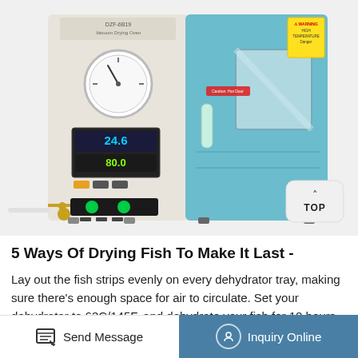[Figure (photo): A vacuum drying oven (DZF-6B19) with a teal/blue front panel, digital temperature display showing 24.6°C and 80.0°C, a pressure gauge, green indicator buttons, brass fittings, and a viewing window on the right door. Warning labels visible in top right corner. A 'TOP' button is overlaid in the bottom-right corner of the photo.]
5 Ways Of Drying Fish To Make It Last -
Lay out the fish strips evenly on every dehydrator tray, making sure there's enough space for air to circulate. Set your dehydrator to 63C/145F, and dehydrate your fish for 10 hours. Check them after this time. If they still feel a bit juicy to you, put
Send Message | Inquiry Online